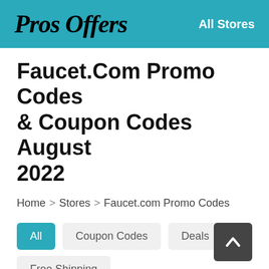Pros Offers   All Stores
Faucet.Com Promo Codes & Coupon Codes August 2022
Home > Stores > Faucet.com Promo Codes
All
Coupon Codes
Deals
Free Shipping